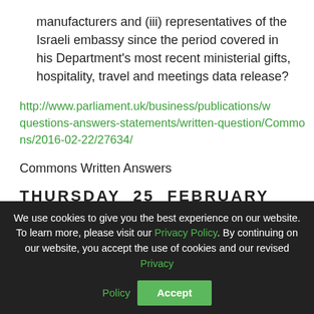manufacturers and (iii) representatives of the Israeli embassy since the period covered in his Department's most recent ministerial gifts, hospitality, travel and meetings data release?
http://www.parliament.uk/business/publications/written-questions-answers-statements/written-question/Commons/2016-02-22/27634/
Commons Written Answers
THURSDAY  25  FEBRUARY  2016
We use cookies to give you the best experience on our website. To learn more, please visit our Privacy Policy. By continuing on our website, you accept the use of cookies and our revised Privacy Policy
Accept